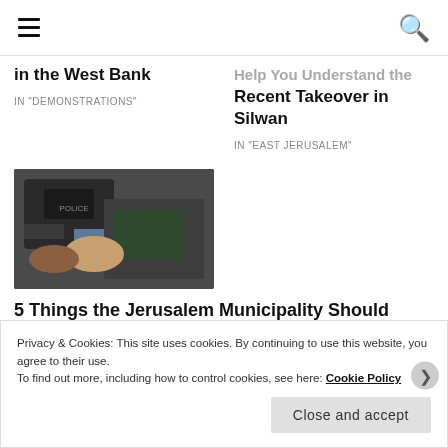Navigation bar with hamburger menu and search icon
in the West Bank
IN "DEMONSTRATIONS"
Help You Understand the Recent Takeover in Silwan
IN "EAST JERUSALEM"
[Figure (photo): Photo of armed officers/soldiers restraining a person on the ground]
5 Things the Jerusalem Municipality Should Not Do In Response to Today's Attack
Privacy & Cookies: This site uses cookies. By continuing to use this website, you agree to their use.
To find out more, including how to control cookies, see here: Cookie Policy
Close and accept